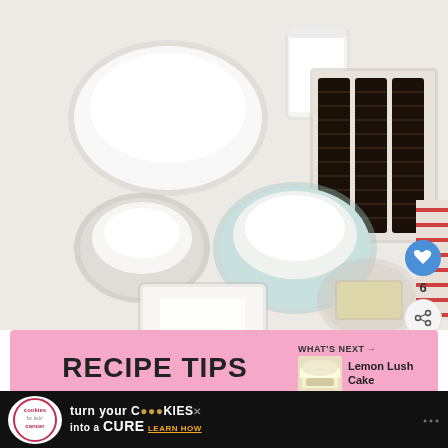[Figure (photo): Overhead view of recipe ingredients on white surface: bowl of whipped cream/cool whip, glass of milk, stack of Oreo cookies in tray, small bowl of powdered sugar, larger bowl of powdered sugar/cream cheese powder, block of cream cheese, butter in small glass bowl, red and white striped cloth]
6
RECIPE TIPS
WHAT'S NEXT → Lemon Lush Cake
[Figure (photo): Small thumbnail image of Lemon Lush Cake]
[Figure (photo): Advertisement banner: cookies for kids cancer - turn your COOKIES into a CURE LEARN HOW]